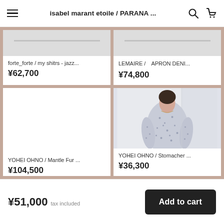isabel marant etoile / PARANA ...
[Figure (screenshot): Product card top-left (cropped): forte_forte / my shitrs - jazz... ¥62,700]
[Figure (screenshot): Product card top-right (cropped): LEMAIRE / APRON DENI... ¥74,800]
[Figure (screenshot): Product card bottom-left: YOHEI OHNO / Mantle Fur ... ¥104,500]
[Figure (photo): Product card bottom-right showing woman in floral pajama set: YOHEI OHNO / Stomacher ... ¥36,300]
¥51,000 tax included
Add to cart